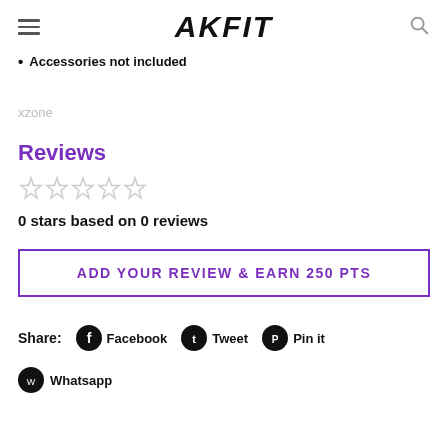AKFIT
Accessories not included
xzone
Reviews
0 stars based on 0 reviews
ADD YOUR REVIEW & EARN 250 PTS
Share: Facebook Tweet Pin it
Whatsapp